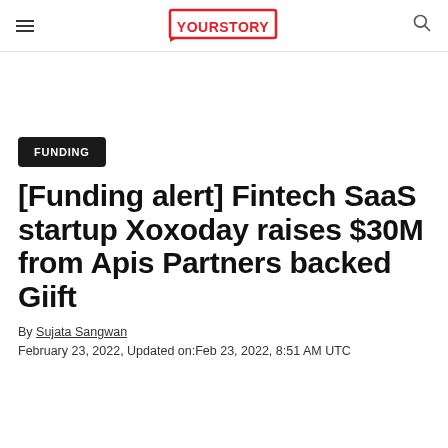YOURSTORY
FUNDING
[Funding alert] Fintech SaaS startup Xoxoday raises $30M from Apis Partners backed Giift
By Sujata Sangwan
February 23, 2022, Updated on:Feb 23, 2022, 8:51 AM UTC